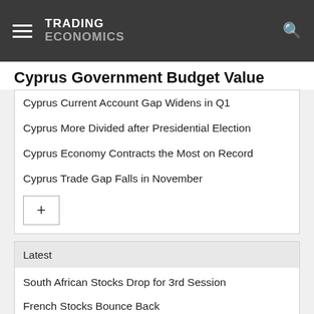TRADING ECONOMICS
Cyprus Government Budget Value
Cyprus Current Account Gap Widens in Q1
Cyprus More Divided after Presidential Election
Cyprus Economy Contracts the Most on Record
Cyprus Trade Gap Falls in November
Latest
South African Stocks Drop for 3rd Session
French Stocks Bounce Back
Euro Area Sentiment at Over 1-Year Low
Italian Stocks Rebound
UK Mortgage Lending Falls in July